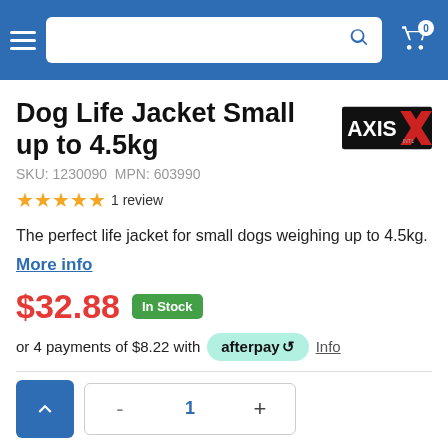Navigation bar with search and cart
Dog Life Jacket Small up to 4.5kg
SKU: 1230090  MPN: 603990
★★★★★ 1 review
The perfect life jacket for small dogs weighing up to 4.5kg.
More info
$32.88  In Stock
or 4 payments of $8.22 with afterpay  Info